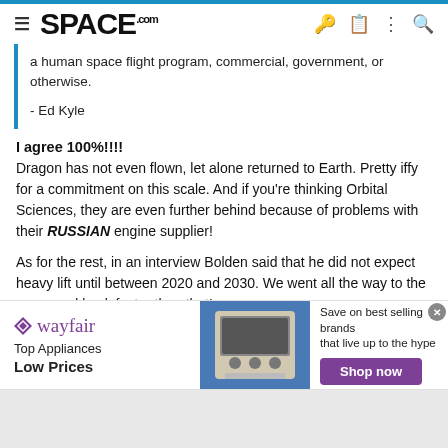SPACE.com
a human space flight program, commercial, government, or otherwise.

- Ed Kyle
I agree 100%!!!!
Dragon has not even flown, let alone returned to Earth. Pretty iffy for a commitment on this scale. And if you're thinking Orbital Sciences, they are even further behind because of problems with their RUSSIAN engine supplier!

As for the rest, in an interview Bolden said that he did not expect heavy lift until between 2020 and 2030. We went all the way to the moon and back faster than that!
[Figure (other): Wayfair advertisement banner — Top Appliances Low Prices, with image of kitchen appliance and Shop now button]